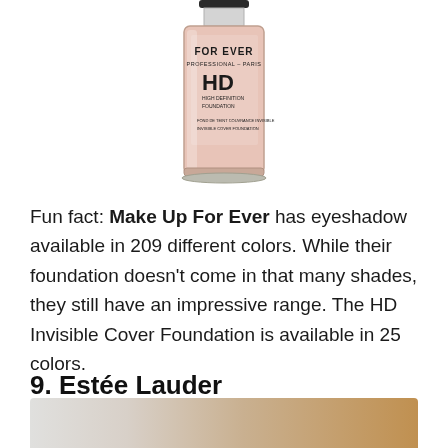[Figure (photo): Make Up For Ever HD High Definition Foundation bottle, a pink/rose-colored liquid foundation in a clear glass bottle with black lid. Label reads: FOR EVER, PROFESSIONAL - PARIS, HD, HIGH DEFINITION FOUNDATION, FOND DE TEINT COUVRANCE INVISIBLE, INVISIBLE COVER FOUNDATION]
Fun fact: Make Up For Ever has eyeshadow available in 209 different colors. While their foundation doesn't come in that many shades, they still have an impressive range. The HD Invisible Cover Foundation is available in 25 colors.
9. Estée Lauder
[Figure (photo): Bottom portion of an Estée Lauder product image, partially cropped, showing golden/amber tones on the right side.]